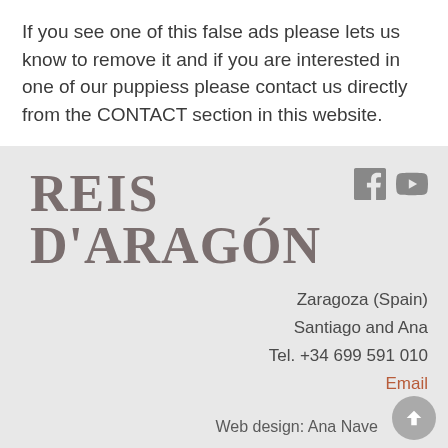If you see one of this false ads please lets us know to remove it and if you are interested in one of our puppiess please contact us directly from the CONTACT section in this website.
[Figure (logo): Reis D'Aragón logo in bold serif font with brownish-grey color]
Zaragoza (Spain)
Santiago and Ana
Tel. +34 699 591 010
Email
Web design: Ana Nave